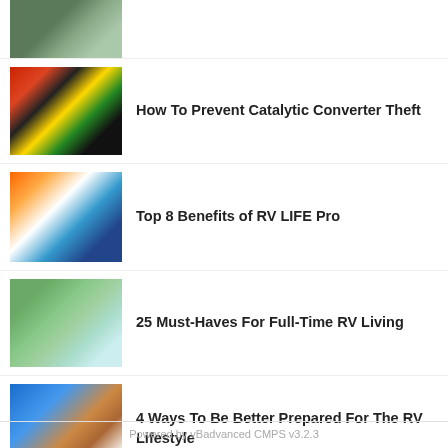[Figure (photo): Aerial view of RV park or campground]
How To Prevent Catalytic Converter Theft
Top 8 Benefits of RV LIFE Pro
25 Must-Haves For Full-Time RV Living
4 Ways To Be Better Prepared For The RV Lifestyle
The Best Places To Go Camping In Bar Harbor, Maine
Powered by vBadvanced CMPS v3.2.3